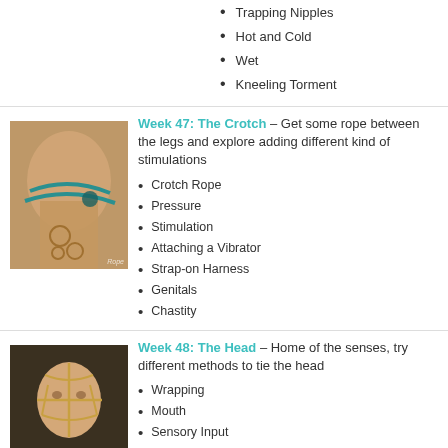Trapping Nipples
Hot and Cold
Wet
Kneeling Torment
[Figure (photo): Photo of person from behind with teal/green rope tied around lower body and thighs with tattoos visible]
Week 47: The Crotch – Get some rope between the legs and explore adding different kind of stimulations
Crotch Rope
Pressure
Stimulation
Attaching a Vibrator
Strap-on Harness
Genitals
Chastity
[Figure (photo): Photo of person's head and face with rope/cord tied around it in a harness pattern]
Week 48: The Head – Home of the senses, try different methods to tie the head
Wrapping
Mouth
Sensory Input
Head to Limb